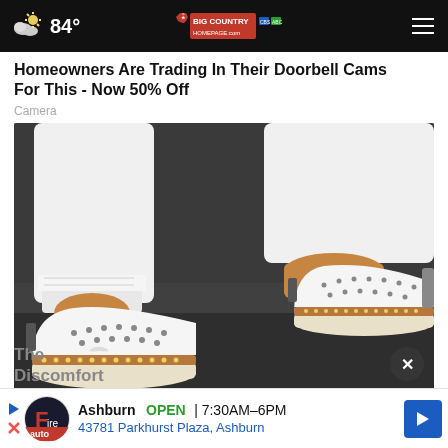84° Big Country Homepage
Homeowners Are Trading In Their Doorbell Cams For This - Now 50% Off
Camera
[Figure (photo): Close-up photo of a person's feet wearing white slip-on shoes with perforated design and tan/brown trim, with white jeans rolled up at the ankle, standing on a dark pavement surface.]
The ... Discomfort
Ashburn OPEN 7:30AM–6PM 43781 Parkhurst Plaza, Ashburn